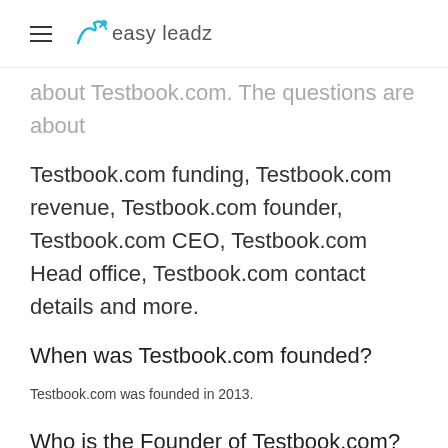easy leadz
about Testbook.com. The questions are about Testbook.com funding, Testbook.com revenue, Testbook.com founder, Testbook.com CEO, Testbook.com Head office, Testbook.com contact details and more.
When was Testbook.com founded?
Testbook.com was founded in 2013.
Who is the Founder of Testbook.com?
Praveen Agrawal is the founder of Testbook.com.
Who is the CEO of Testbook.com?